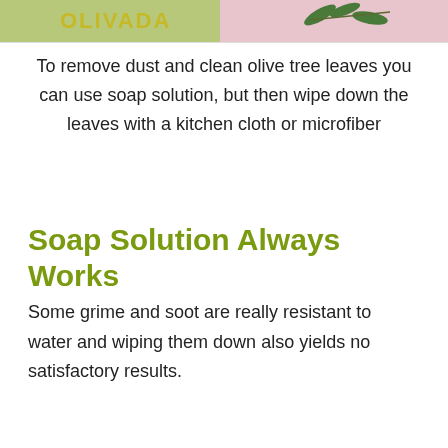[Figure (photo): Partial image of olive tree with text overlay showing 'OLIVADA' in yellow/green font, with olive branches and pink background visible at the top of the page.]
To remove dust and clean olive tree leaves you can use soap solution, but then wipe down the leaves with a kitchen cloth or microfiber
Soap Solution Always Works
Some grime and soot are really resistant to water and wiping them down also yields no satisfactory results.